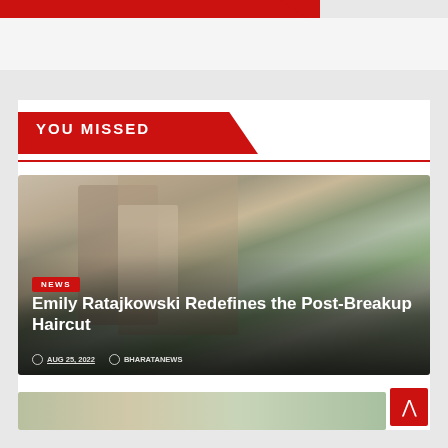YOU MISSED
[Figure (photo): Woman with long brown hair wearing a gray tank top and blue bag, street photography style]
Emily Ratajkowski Redefines the Post-Breakup Haircut
NEWS
AUG 25, 2022  BHARATANEWS
[Figure (photo): Partial teaser image at bottom of page]